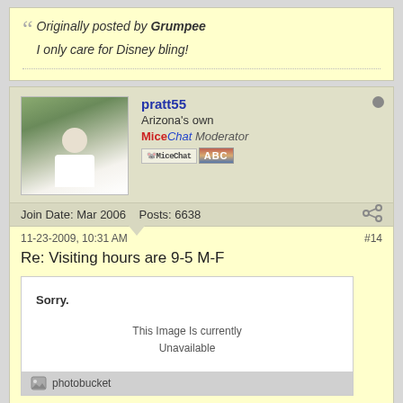Originally posted by Grumpee
I only care for Disney bling!
pratt55
Arizona's own
MiceChat Moderator
Join Date: Mar 2006   Posts: 6638
11-23-2009, 10:31 AM   #14
Re: Visiting hours are 9-5 M-F
[Figure (other): Broken image placeholder from Photobucket showing 'Sorry. This Image Is currently Unavailable']